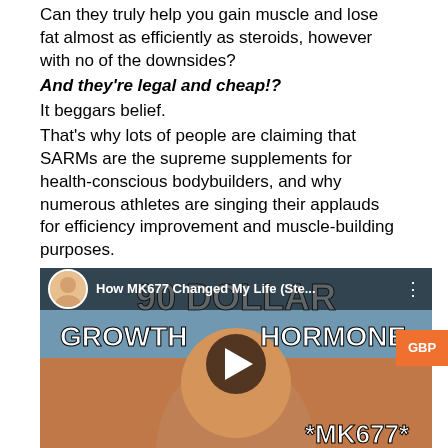Can they truly help you gain muscle and lose fat almost as efficiently as steroids, however with no of the downsides?
And they're legal and cheap!?
It beggars belief.
That's why lots of people are claiming that SARMs are the supreme supplements for health-conscious bodybuilders, and why numerous athletes are singing their applauds for efficiency improvement and muscle-building purposes.
It absolutely sounds too good to be true, however is it? What does the science state?
Well, in this post, we're going to get to the bottom of all of it. We're going to look at what SARMs are, how they work, what research states about how reliable and safe they actually are.
[Figure (screenshot): YouTube video thumbnail showing a muscular man with text 'GROWTH HORMONE *MK677*' and a video title 'How MK677 Changed My Life (Ste...' with a play button overlay.]